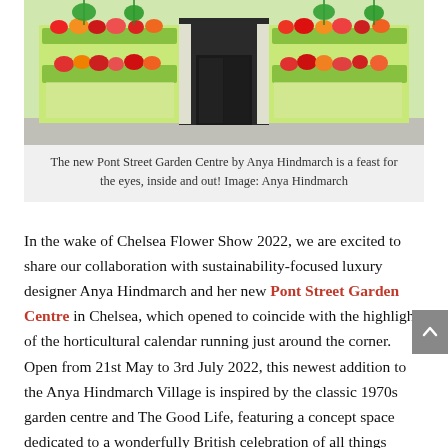[Figure (photo): Exterior of the Pont Street Garden Centre by Anya Hindmarch, showing a bright green shopfront decorated with colourful flower boxes and hanging baskets.]
The new Pont Street Garden Centre by Anya Hindmarch is a feast for the eyes, inside and out! Image: Anya Hindmarch
In the wake of Chelsea Flower Show 2022, we are excited to share our collaboration with sustainability-focused luxury designer Anya Hindmarch and her new Pont Street Garden Centre in Chelsea, which opened to coincide with the highlight of the horticultural calendar running just around the corner. Open from 21st May to 3rd July 2022, this newest addition to the Anya Hindmarch Village is inspired by the classic 1970s garden centre and The Good Life, featuring a concept space dedicated to a wonderfully British celebration of all things gardening.
Brimming with gorgeous gardening goodies both inside